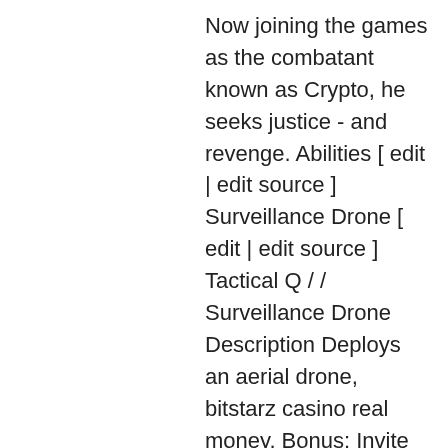Now joining the games as the combatant known as Crypto, he seeks justice - and revenge. Abilities [ edit | edit source ] Surveillance Drone [ edit | edit source ] Tactical Q / / Surveillance Drone Description Deploys an aerial drone, bitstarz casino real money. Bonus: Invite your friends to play Crypto Game to get $100 added to your balance. More friends equals more bonus, bitstarz casino reddit. Another thing to consider is what actually motivates people from the get-go, bitstarz casino zatočení zdarma. In economics and game theory, we call this a utility function: how much payoff, use or value, someone receives and wishes to receive from a given outcome. It can be played on the PC only when you purchase it, bitstarz casino tiradas gratis. The game can be played only in English or Chinese. When you get bored with the previous games, try SaruTobi, a game featuring a flying monkey,